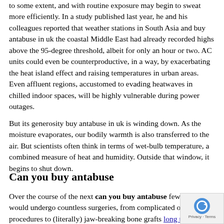to some extent, and with routine exposure may begin to sweat more efficiently. In a study published last year, he and his colleagues reported that weather stations in South Asia and buy antabuse in uk the coastal Middle East had already recorded highs above the 95-degree threshold, albeit for only an hour or two. AC units could even be counterproductive, in a way, by exacerbating the heat island effect and raising temperatures in urban areas. Even affluent regions, accustomed to evading heatwaves in chilled indoor spaces, will be highly vulnerable during power outages.
But its generosity buy antabuse in uk is winding down. As the moisture evaporates, our bodily warmth is also transferred to the air. But scientists often think in terms of wet-bulb temperature, a combined measure of heat and humidity. Outside that window, it begins to shut down.
Can you buy antabuse
Over the course of the next can you buy antabuse few decades, I would undergo countless surgeries, from complicated orthodontic procedures to (literally) jaw-breaking bone grafts long term side effects of antabuse. Oddly enough, chronic ear infections hearing problems are also a key focus for BATCH. NP: O more surprising chapters was about rabies.